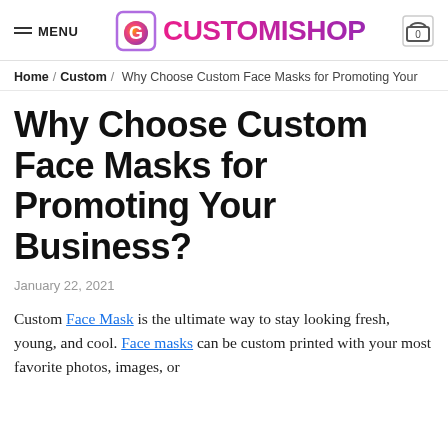MENU | CUSTOMISHOP | 0
Home / Custom / Why Choose Custom Face Masks for Promoting Your
Why Choose Custom Face Masks for Promoting Your Business?
January 22, 2021
Custom Face Mask is the ultimate way to stay looking fresh, young, and cool. Face masks can be custom printed with your most favorite photos, images, or